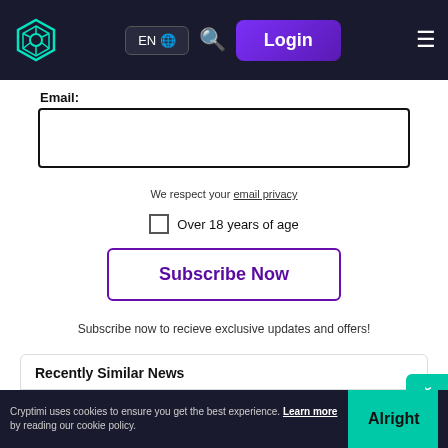[Figure (screenshot): Navigation bar with logo, EN language selector, search icon, Login button, and hamburger menu on dark background]
Email:
We respect your email privacy
Over 18 years of age
Subscribe Now
Subscribe now to recieve exclusive updates and offers!
Recently Similar News
Haru Invest – the Ideal Platform to Get in Touch with ...
Cryptimi uses cookies to ensure you get the best experience. Learn more by reading our cookie policy.